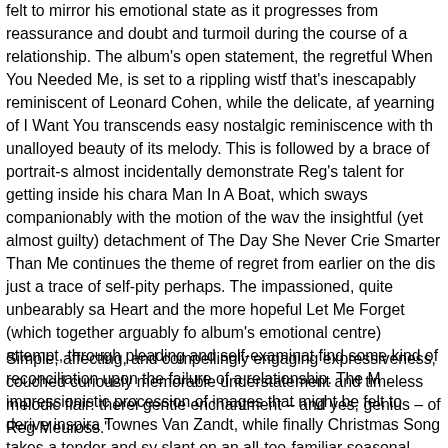felt to mirror his emotional state as it progresses from reassurance and doubt and turmoil during the course of a relationship. The album's opening statement, the regretful When You Needed Me, is set to a rippling wistfulness that's inescapably reminiscent of Leonard Cohen, while the delicate, aching yearning of I Want You transcends easy nostalgic reminiscence with the unalloyed beauty of its melody. This is followed by a brace of portrait-songs that almost incidentally demonstrate Reg's talent for getting inside his characters: Man In A Boat, which sways companionably with the motion of the waves, and the insightful (yet almost guilty) detachment of The Day She Never Cried. Smarter Than Me continues the theme of regret from earlier on the disc, with just a trace of self-pity perhaps. The impassioned, quite unbearably sad Mended Heart and the more hopeful Let Me Forget (which together arguably form the album's emotional centre) attempt, through pleading and self-examination, to find some kind of reconciliation upon the failure of a relationship. The N... impressionistic procession of images that might be felt to derive inspiration from Townes Van Zandt, while finally Christmas Song takes a tender and sympathetic slant on an all-too-familiar seasonal scenario.
Simple, affecting, and compellingly engaging expressiveness, couched in curiously memorable understatement and timeless melodic flair: therein lies the gentle enchantment – and yes, genius – of Reg Meuross."